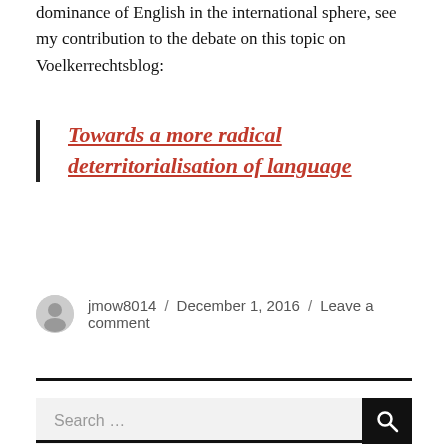dominance of English in the international sphere, see my contribution to the debate on this topic on Voelkerrechtsblog:
Towards a more radical deterritorialisation of language
jmow8014 / December 1, 2016 / Leave a comment
[Figure (other): Search bar with text 'Search ...' and a black search button with magnifying glass icon]